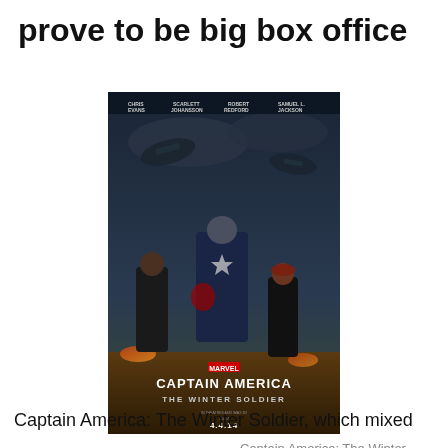prove to be big box office
[Figure (photo): Movie poster for Captain America: The Winter Soldier, featuring Captain America in full costume with shield, flanked by Black Widow and Nick Fury, with aircraft in the background. Text reads CAPTAIN AMERICA THE WINTER SOLDIER, release date 4.4.14.]
Captain America: The Winter Soldier's poster
Captain America: The Winter Soldier, which mixed